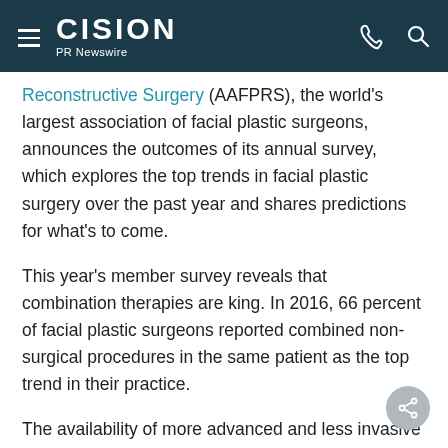CISION PR Newswire
Reconstructive Surgery (AAFPRS), the world's largest association of facial plastic surgeons, announces the outcomes of its annual survey, which explores the top trends in facial plastic surgery over the past year and shares predictions for what's to come.
This year's member survey reveals that combination therapies are king. In 2016, 66 percent of facial plastic surgeons reported combined non-surgical procedures in the same patient as the top trend in their practice.
The availability of more advanced and less invasive